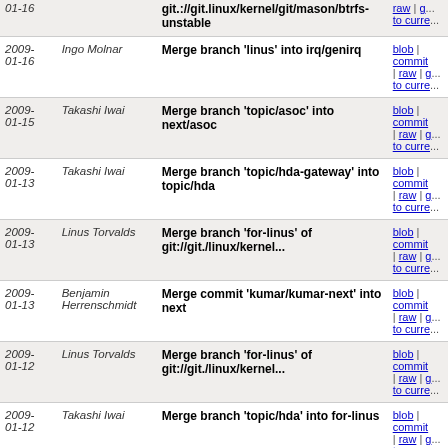| Date | Author | Commit Message | Links |
| --- | --- | --- | --- |
| 2009-01-16 |  | git.://git.linux/kernel/git/mason/btrfs-unstable | blob | commit | raw | g... | to curre... |
| 2009-01-16 | Ingo Molnar | Merge branch 'linus' into irq/genirq | blob | commit | raw | g... | to curre... |
| 2009-01-15 | Takashi Iwai | Merge branch 'topic/asoc' into next/asoc | blob | commit | raw | g... | to curre... |
| 2009-01-13 | Takashi Iwai | Merge branch 'topic/hda-gateway' into topic/hda | blob | commit | raw | g... | to curre... |
| 2009-01-13 | Linus Torvalds | Merge branch 'for-linus' of git://git./linux/kernel... | blob | commit | raw | g... | to curre... |
| 2009-01-13 | Benjamin Herrenschmidt | Merge commit 'kumar/kumar-next' into next | blob | commit | raw | g... | to curre... |
| 2009-01-12 | Linus Torvalds | Merge branch 'for-linus' of git://git./linux/kernel... | blob | commit | raw | g... | to curre... |
| 2009-01-12 | Takashi Iwai | Merge branch 'topic/hda' into for-linus | blob | commit | raw | g... | to curre... |
| 2009-01-12 | Takashi Iwai | Merge branch 'topic/asoc' into for-linus | blob | commit | raw | g... | to curre... |
| 2009-01-12 | Ingo Molnar | Merge commit 'v2.6.29-rc1' into timers/hrtimers | blob | commit | raw | g... | to curre... |
| 2009-01-11 | Ingo Molnar | Merge branch 'sched/latest' of git://git./linux/kernel... | blob | commit | raw | g... | to curre... |